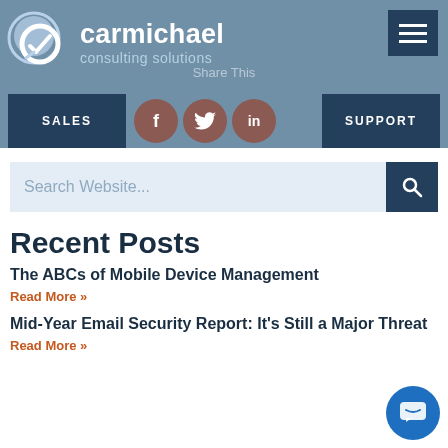[Figure (logo): Carmichael Consulting Solutions logo with speech bubble icon]
carmichael consulting solutions
Share This
SALES   SUPPORT
Search Website...
Recent Posts
The ABCs of Mobile Device Management
Read More »
Mid-Year Email Security Report: It's Still a Major Threat
Read More »